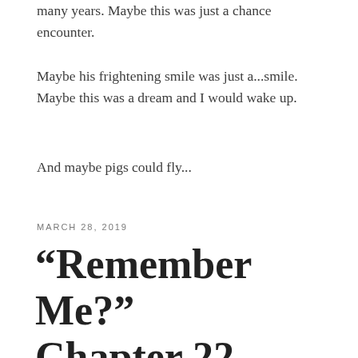many years. Maybe this was just a chance encounter.
Maybe his frightening smile was just a...smile. Maybe this was a dream and I would wake up.
And maybe pigs could fly...
MARCH 28, 2019
“Remember Me?” Chapter 22